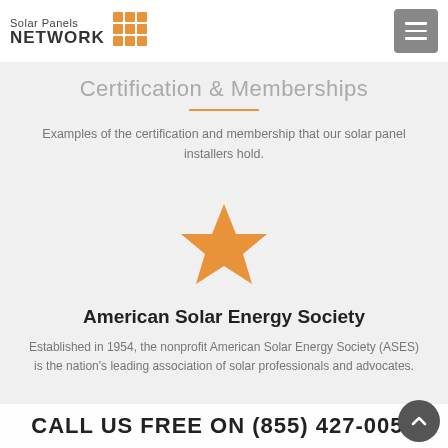Solar Panels NETWORK
Certification & Memberships
Examples of the certification and membership that our solar panel installers hold.
[Figure (illustration): Orange five-pointed star icon representing a certification or membership badge]
American Solar Energy Society
Established in 1954, the nonprofit American Solar Energy Society (ASES) is the nation's leading association of solar professionals and advocates.
CALL US FREE ON (855) 427-0058